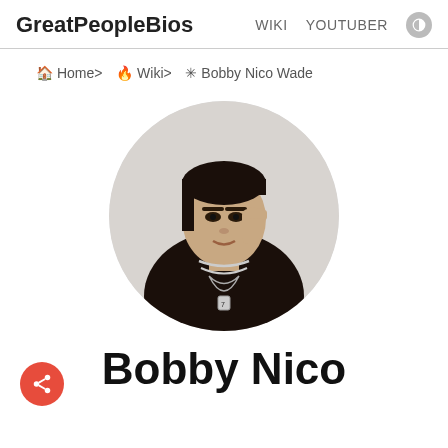GreatPeopleBios   WIKI   YOUTUBER
🏠 Home>   🔥 Wiki>   ✳ Bobby Nico Wade
[Figure (photo): Circular profile photo of Bobby Nico Wade, a young man wearing a black patterned outfit with silver chain necklaces, hand raised near his face, posing against a light grey background.]
Bobby Nico